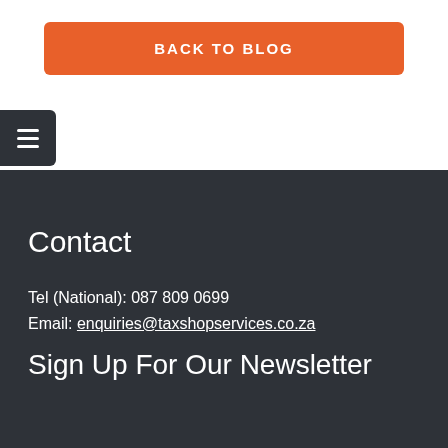BACK TO BLOG
Contact
Tel (National): 087 809 0699
Email: enquiries@taxshopservices.co.za
Sign Up For Our Newsletter